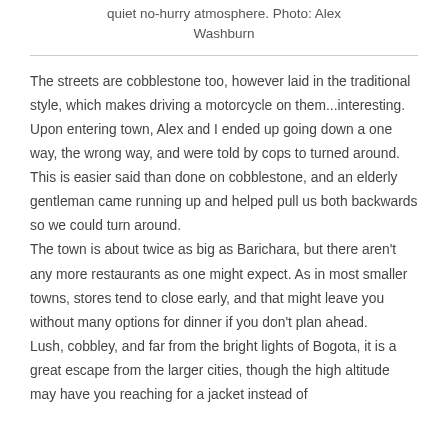quiet no-hurry atmosphere. Photo: Alex Washburn
The streets are cobblestone too, however laid in the traditional style, which makes driving a motorcycle on them...interesting. Upon entering town, Alex and I ended up going down a one way, the wrong way, and were told by cops to turned around. This is easier said than done on cobblestone, and an elderly gentleman came running up and helped pull us both backwards so we could turn around.
The town is about twice as big as Barichara, but there aren't any more restaurants as one might expect. As in most smaller towns, stores tend to close early, and that might leave you without many options for dinner if you don't plan ahead.
Lush, cobbley, and far from the bright lights of Bogota, it is a great escape from the larger cities, though the high altitude may have you reaching for a jacket instead of